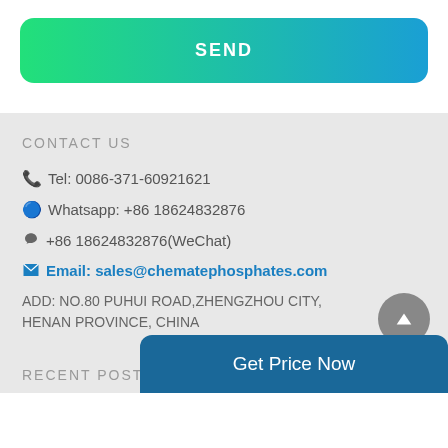[Figure (other): Green to blue gradient SEND button]
CONTACT US
Tel: 0086-371-60921621
Whatsapp: +86 18624832876
+86 18624832876(WeChat)
Email: sales@chematephosphates.com
ADD: NO.80 PUHUI ROAD,ZHENGZHOU CITY, HENAN PROVINCE, CHINA
Get Price Now
RECENT POSTS